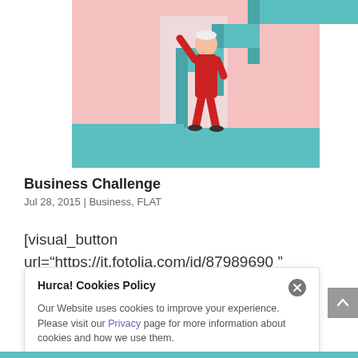[Figure (illustration): Flat-style illustration of a person in a red jumpsuit standing at the base of large teal/blue-green stairs against a pink background, raising one arm upward.]
Business Challenge
Jul 28, 2015 | Business, FLAT
[visual_button url="https://it.fotolia.com/id/87989690 " style="orange" size="medium"
ta... [faded: ownload Busine...] O...
Hurca! Cookies Policy
Our Website uses cookies to improve your experience. Please visit our Privacy page for more information about cookies and how we use them.